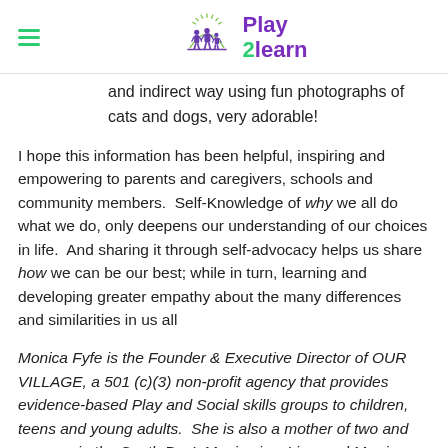Play 2 Learn
and indirect way using fun photographs of cats and dogs, very adorable!
I hope this information has been helpful, inspiring and empowering to parents and caregivers, schools and community members.  Self-Knowledge of why we all do what we do, only deepens our understanding of our choices in life.  And sharing it through self-advocacy helps us share how we can be our best; while in turn, learning and developing greater empathy about the many differences and similarities in us all
Monica Fyfe is the Founder & Executive Director of OUR VILLAGE, a 501 (c)(3) non-profit agency that provides evidence-based Play and Social skills groups to children, teens and young adults.  She is also a mother of two and grew up in the South Bay!  Monica is a Licensed Marriage and Family Therapist, #47541, Board Certified Behavior Analyst, and Registered Play Therapist-Supervisor. Monica is an Adjunct Professor at Pepperdine University in the